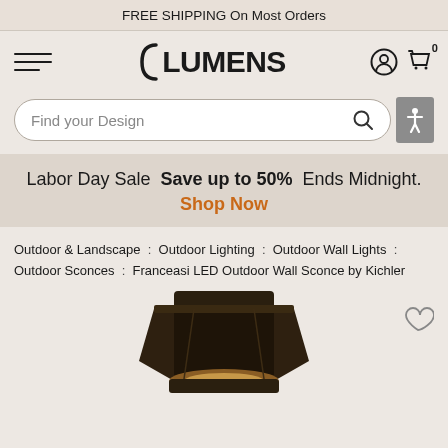FREE SHIPPING On Most Orders
[Figure (logo): Lumens logo with bracket symbol and wordmark]
Find your Design
Labor Day Sale  Save up to 50%  Ends Midnight.
Shop Now
Outdoor & Landscape : Outdoor Lighting : Outdoor Wall Lights : Outdoor Sconces : Franceasi LED Outdoor Wall Sconce by Kichler
[Figure (photo): Outdoor wall sconce light fixture, dark bronze finish, partially visible at bottom of page]